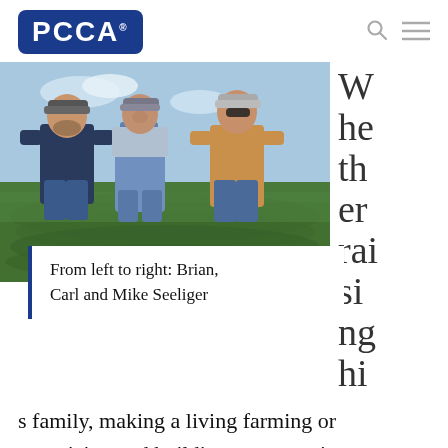PCCA
[Figure (photo): Three men standing in a cotton field. From left: younger man in dark t-shirt and cap, older man in overalls and cap, third man in tan t-shirt and sunglasses.]
From left to right: Brian, Carl and Mike Seeliger
Whether raising his family, making a living farming or organizing and building a cotton gin,